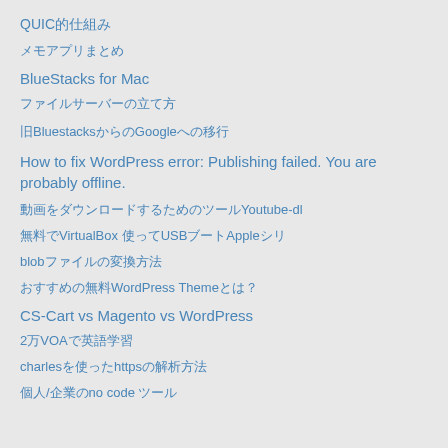QUICの仕組み
メモアプリまとめ
BlueStacks for Mac
ファイルサーバーの立て方
旧Bluestacksから新しいGoogleへの移行
How to fix WordPress error: Publishing failed. You are probably offline.
動画をダウンロードするためのツールYoutube-dl
無料でVirtualBox 使ってUSBブートAppleシリ
blobファイルの変換方法
おすすめの無料WordPressのThemeとは？
CS-Cart vs Magento vs WordPress
2万円VOAで英語学習
charlesを使ったhttpsの解析方法
個人/企業のno code ツール